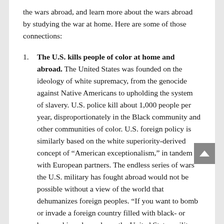the wars abroad, and learn more about the wars abroad by studying the war at home. Here are some of those connections:
The U.S. kills people of color at home and abroad. The United States was founded on the ideology of white supremacy, from the genocide against Native Americans to upholding the system of slavery. U.S. police kill about 1,000 people per year, disproportionately in the Black community and other communities of color. U.S. foreign policy is similarly based on the white superiority-derived concept of “American exceptionalism,” in tandem with European partners. The endless series of wars the U.S. military has fought abroad would not be possible without a view of the world that dehumanizes foreign peoples. “If you want to bomb or invade a foreign country filled with black- or brown-skinned people, as the United States military often has, you must…